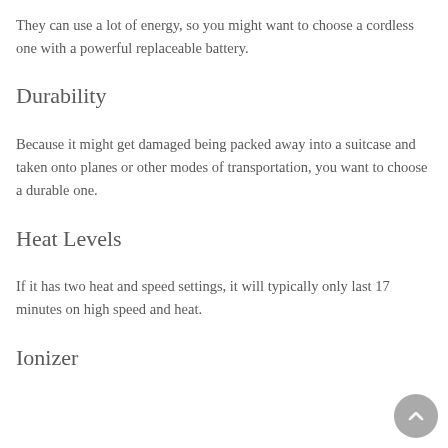They can use a lot of energy, so you might want to choose a cordless one with a powerful replaceable battery.
Durability
Because it might get damaged being packed away into a suitcase and taken onto planes or other modes of transportation, you want to choose a durable one.
Heat Levels
If it has two heat and speed settings, it will typically only last 17 minutes on high speed and heat.
Ionizer